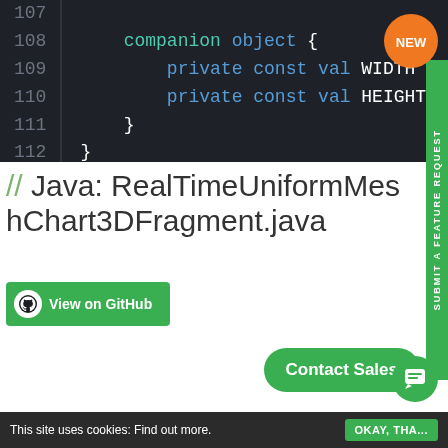[Figure (screenshot): Dark-themed code editor showing Kotlin/Java code snippet, lines 107-112, with companion object definition containing WIDTH=50 and HEIGHT=50 constants]
// Java: RealTimeUniformMeshChart3DFragment.java
[Figure (screenshot): Green 'View on GitHub' button with GitHub logo icon]
[Figure (screenshot): Dark-themed code editor showing Java file header comments, lines 1-6, with SCICHART copyright, website, support and sales contact info]
This site uses cookies: Find out more.